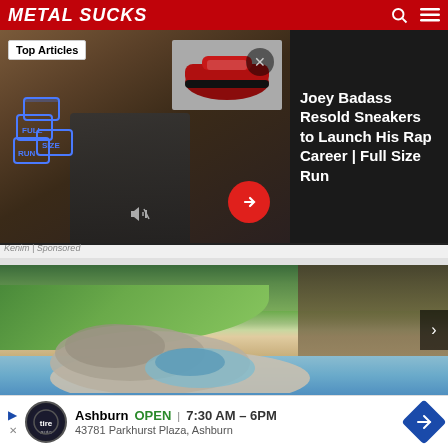MetalSucks
[Figure (screenshot): Video thumbnail showing person in sneaker store with Full Size Run logo overlay and Top Articles badge]
Joey Badass Resold Sneakers to Launch His Rap Career | Full Size Run
Kenim | Sponsored
[Figure (photo): Aerial view of luxury spiral villa with pool on coastal cliffside with lush greenery]
Ashburn  OPEN  7:30 AM – 6PM  43781 Parkhurst Plaza, Ashburn